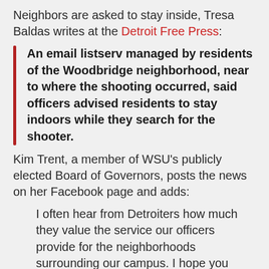Neighbors are asked to stay inside, Tresa Baldas writes at the Detroit Free Press:
An email listserv managed by residents of the Woodbridge neighborhood, near to where the shooting occurred, said officers advised residents to stay indoors while they search for the shooter.
Kim Trent, a member of WSU's publicly elected Board of Governors, posts the news on her Facebook page and adds:
I often hear from Detroiters how much they value the service our officers provide for the neighborhoods surrounding our campus. I hope you